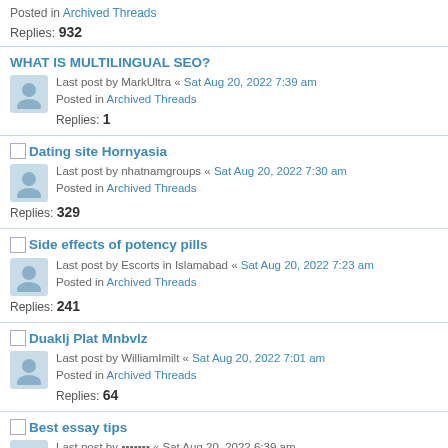Posted in Archived Threads
Replies: 932
WHAT IS MULTILINGUAL SEO?
Last post by MarkUltra « Sat Aug 20, 2022 7:39 am
Posted in Archived Threads
Replies: 1
Dating site Hornyasia
Last post by nhatnamgroups « Sat Aug 20, 2022 7:30 am
Posted in Archived Threads
Replies: 329
Side effects of potency pills
Last post by Escorts in Islamabad « Sat Aug 20, 2022 7:23 am
Posted in Archived Threads
Replies: 241
Duaklj Plat Mnbvlz
Last post by WilliamImilt « Sat Aug 20, 2022 7:01 am
Posted in Archived Threads
Replies: 64
Best essay tips
Last post by ??????? « Sat Aug 20, 2022 6:39 am